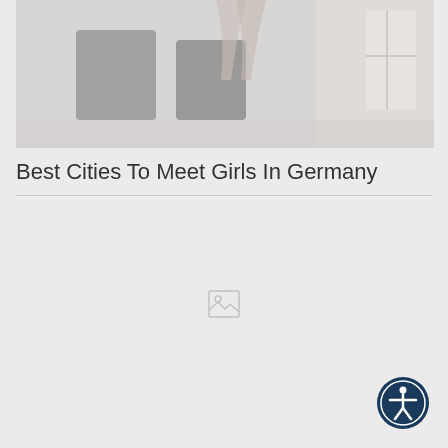[Figure (photo): Partially visible photo showing a person in a room with chairs and windows, faded/low opacity image at the top of the page]
Best Cities To Meet Girls In Germany
[Figure (photo): Broken/placeholder image icon in the center of the lower portion of the page]
[Figure (illustration): Accessibility button icon — dark blue circle with white human figure with arms extended, located in bottom-right corner]